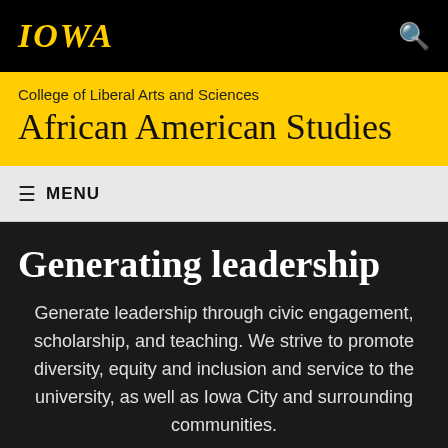IOWA
College of Liberal Arts and Sciences
African American Studies
≡ MENU
Generating leadership
Generate leadership through civic engagement, scholarship, and teaching. We strive to promote diversity, equity and inclusion and service to the university, as well as Iowa City and surrounding communities.